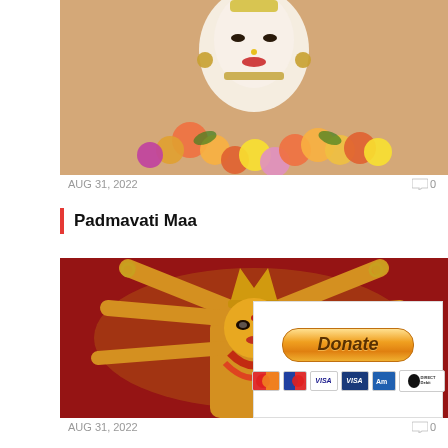[Figure (photo): Close-up photo of Padmavati Maa deity with white/fair complexion, jewelry, and colorful flower garlands (orange, yellow, purple flowers)]
AUG 31, 2022
0
Padmavati Maa
[Figure (photo): Photo of Durga Maa multi-armed statue in golden/yellow and red colors with crown, multiple arms holding various objects, decorated with red flower garlands, against a red/brown background. A PayPal Donate button overlay appears in the lower right with credit card icons (Mastercard, Maestro, VISA, VISA, American Express, Direct Debit)]
AUG 31, 2022
0